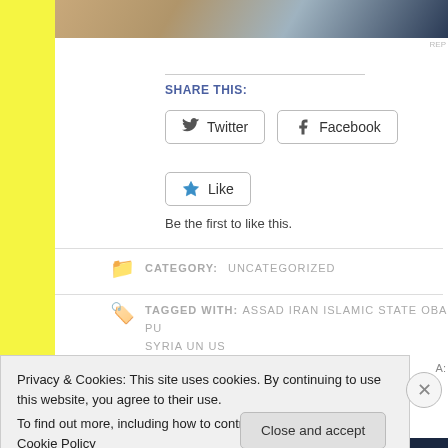[Figure (screenshot): Top portion of webpage showing partial image banner]
SHARE THIS:
Twitter
Facebook
Like
Be the first to like this.
CATEGORY: UNCATEGORIZED
TAGGED WITH: ASSAD IRAN ISLAMIC STATE OBAMA PU SYRIA UN US
Privacy & Cookies: This site uses cookies. By continuing to use this website, you agree to their use.
To find out more, including how to control cookies, see here: Cookie Policy
Close and accept